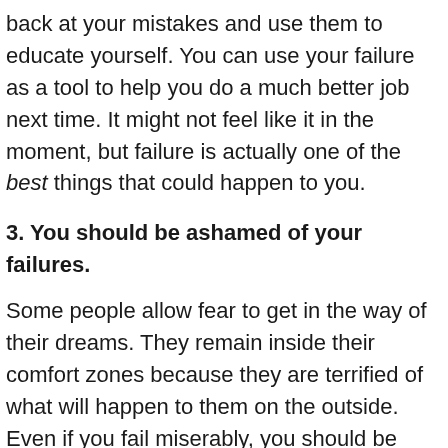back at your mistakes and use them to educate yourself. You can use your failure as a tool to help you do a much better job next time. It might not feel like it in the moment, but failure is actually one of the best things that could happen to you.
3. You should be ashamed of your failures.
Some people allow fear to get in the way of their dreams. They remain inside their comfort zones because they are terrified of what will happen to them on the outside. Even if you fail miserably, you should be proud of yourself for actually trying, for following your passions, for being brave enough to take a risk.
4. Failure means you’re talentless.
Sometimes, your work is going to be rejected for reasons